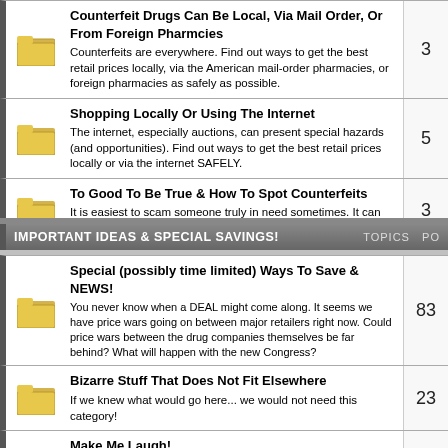Counterfeit Drugs Can Be Local, Via Mail Order, Or From Foreign Pharmcies - Counterfeits are everywhere. Find out ways to get the best retail prices locally, via the American mail-order pharmacies, or foreign pharmacies as safely as possible. Topics: 3
Shopping Locally Or Using The Internet - The internet, especially auctions, can present special hazards (and opportunities). Find out ways to get the best retail prices locally or via the internet SAFELY. Topics: 5
To Good To Be True & How To Spot Counterfeits - It is easiest to scam someone truly in need sometimes. It can kill you. Topics: 3
IMPORTANT IDEAS & SPECIAL SAVINGS!
Special (possibly time limited) Ways To Save & NEWS! - You never know when a DEAL might come along. It seems we have price wars going on between major retailers right now. Could price wars between the drug companies themselves be far behind? What will happen with the new Congress? Topics: 83
Bizarre Stuff That Does Not Fit Elsewhere - If we knew what would go here... we would not need this category! Topics: 23
Make Me Laugh! - This might seem to be in the wrong place. Most people would put it at the bottom of all forums. We think it is the BEST MEDICINE though... and since it is free; it definitely it is one of the best ways to save money on your drug costs! Topics: 14
FYI: Info That Saves Lives, Improves Lives, &...